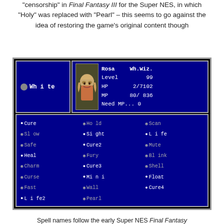"censorship" in Final Fantasy III for the Super NES, in which "Holy" was replaced with "Pearl" – this seems to go against the idea of restoring the game's original content though
[Figure (screenshot): Super NES Final Fantasy III (FFVI) game screenshot showing Rosa's White Wizard spell menu. Top section shows 'White' menu on left and Rosa's character stats (Level 99, HP 2/7102, MP 80/836, Need MP...0, Wh.Wiz.) on right with character portrait. Bottom section shows a grid of spells: Cure, Hold, Scan, Slow, Sight, Life, Safe, Cure2, Mute, Heal, Fury, Blink, Charm, Cure3, Shell, Curse, Mini, Float, Fast, Wall, Cure4, Life2, Pearl.]
Spell names follow the early Super NES Final Fantasy